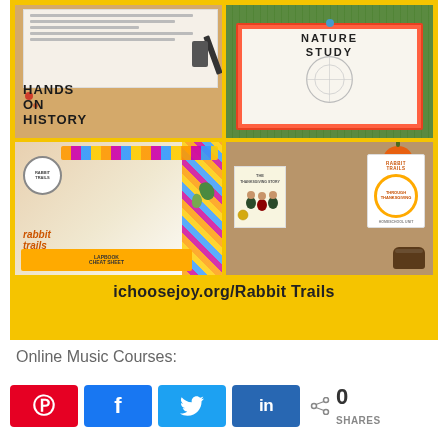[Figure (photo): Yellow-background promotional graphic for 'Rabbit Trails' homeschool curriculum at ichoosejoy.org/RabbitTrails. Contains four photos: top-left shows open notebooks with 'HANDS ON HISTORY' text, top-right shows a nature study journal open on grass, bottom-left shows rabbit trails curriculum materials and supplies, bottom-right shows Thanksgiving-themed books with pumpkin and pine cone. URL 'ichoosejoy.org/Rabbit Trails' displayed at bottom of yellow graphic.]
Online Music Courses:
0 SHARES